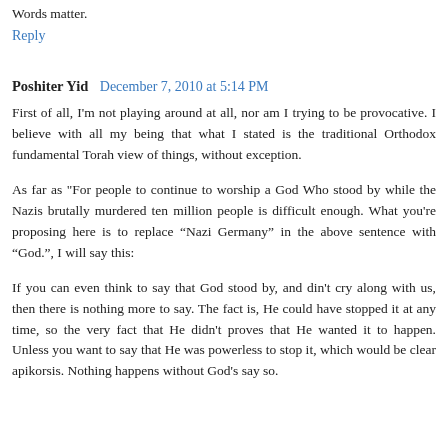Words matter.
Reply
Poshiter Yid  December 7, 2010 at 5:14 PM
First of all, I'm not playing around at all, nor am I trying to be provocative. I believe with all my being that what I stated is the traditional Orthodox fundamental Torah view of things, without exception.
As far as "For people to continue to worship a God Who stood by while the Nazis brutally murdered ten million people is difficult enough. What you're proposing here is to replace “Nazi Germany” in the above sentence with “God.", I will say this:
If you can even think to say that God stood by, and din't cry along with us, then there is nothing more to say. The fact is, He could have stopped it at any time, so the very fact that He didn't proves that He wanted it to happen. Unless you want to say that He was powerless to stop it, which would be clear apikorsis. Nothing happens without God's say so.